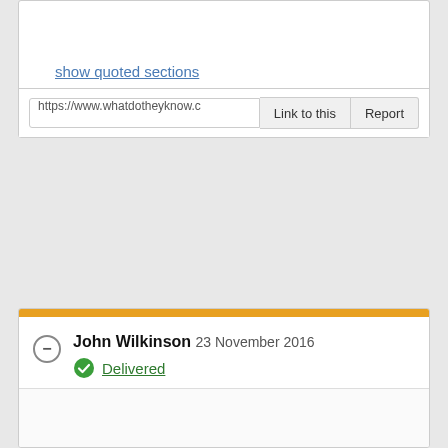show quoted sections
https://www.whatdotheyknow.c...
John Wilkinson 23 November 2016
Delivered